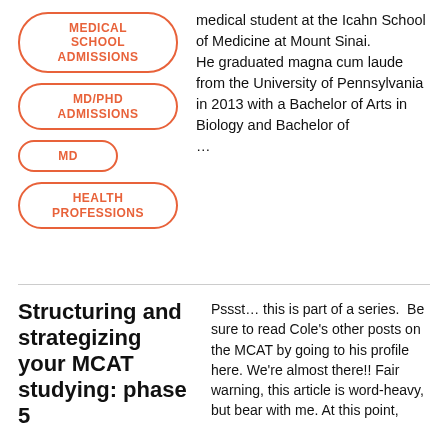MEDICAL SCHOOL ADMISSIONS
MD/PHD ADMISSIONS
MD
HEALTH PROFESSIONS
medical student at the Icahn School of Medicine at Mount Sinai. He graduated magna cum laude from the University of Pennsylvania in 2013 with a Bachelor of Arts in Biology and Bachelor of ...
Structuring and strategizing your MCAT studying: phase 5
Pssst… this is part of a series.  Be sure to read Cole's other posts on the MCAT by going to his profile here. We're almost there!! Fair warning, this article is word-heavy, but bear with me. At this point,